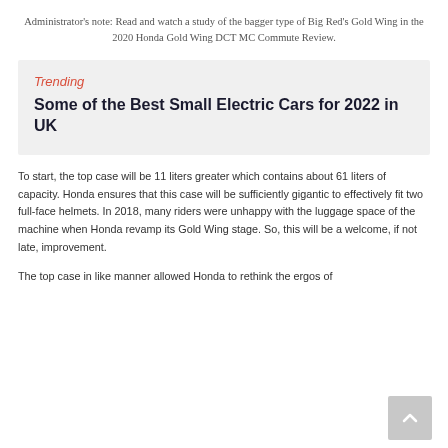Administrator's note: Read and watch a study of the bagger type of Big Red's Gold Wing in the 2020 Honda Gold Wing DCT MC Commute Review.
Trending
Some of the Best Small Electric Cars for 2022 in UK
To start, the top case will be 11 liters greater which contains about 61 liters of capacity. Honda ensures that this case will be sufficiently gigantic to effectively fit two full-face helmets. In 2018, many riders were unhappy with the luggage space of the machine when Honda revamp its Gold Wing stage. So, this will be a welcome, if not late, improvement.
The top case in like manner allowed Honda to rethink the ergos of